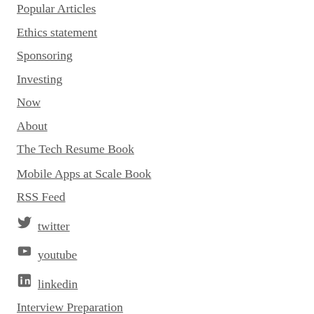Popular Articles
Ethics statement
Sponsoring
Investing
Now
About
The Tech Resume Book
Mobile Apps at Scale Book
RSS Feed
twitter
youtube
linkedin
Interview Preparation
Templates
Stats